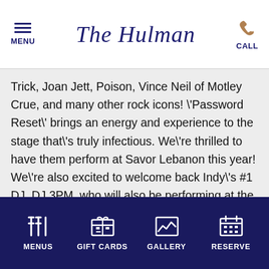MENU | The Hulman | CALL
Trick, Joan Jett, Poison, Vince Neil of Motley Crue, and many other rock icons! \'Password Reset\' brings an energy and experience to the stage that\'s truly infectious. We\'re thrilled to have them perform at Savor Lebanon this year! We\'re also excited to welcome back Indy\'s #1 DJ, DJ 3PM, who will also be performing at the same time at the event! The music is going to be incredible this year!\ Tickets are now on sale with an opportunity to buy online, in advance, to save!\ Early Bird Tickets (Available until April 7th) GA - $40\ Advance Sale Tickets (Available from April 7th - May 7th) GA - $45\ Door Sales (If tickets are still available) GA - $50\ *Designated Driver tickets may be purchased at the gate, the day of the event, for $20 each.\
MENUS | GIFT CARDS | GALLERY | RESERVE